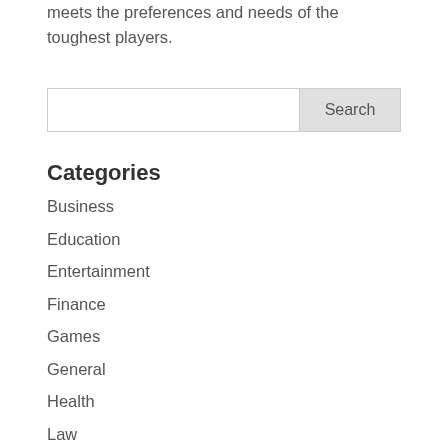meets the preferences and needs of the toughest players.
Categories
Business
Education
Entertainment
Finance
Games
General
Health
Law
Medical